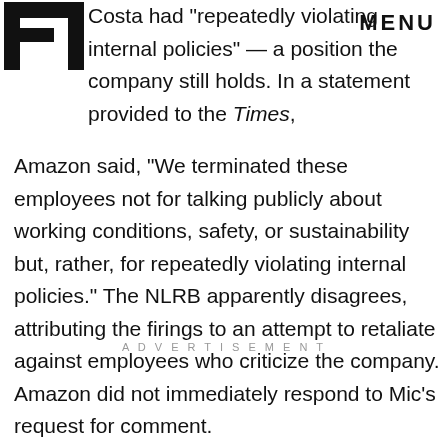MIC MENU
Costa had "repeatedly violating internal policies" — a position the company still holds. In a statement provided to the Times, Amazon said, "We terminated these employees not for talking publicly about working conditions, safety, or sustainability but, rather, for repeatedly violating internal policies." The NLRB apparently disagrees, attributing the firings to an attempt to retaliate against employees who criticize the company. Amazon did not immediately respond to Mic's request for comment.
ADVERTISEMENT